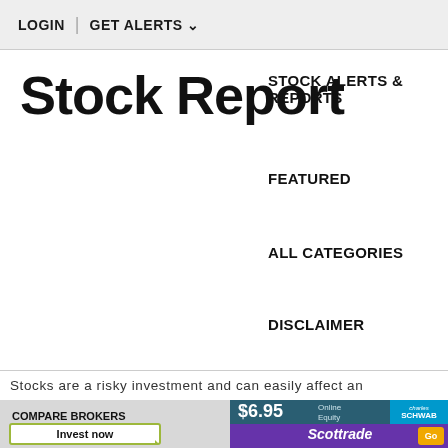LOGIN | GET ALERTS
Stock Report
STOCK ALERTS & REPORTS
FEATURED
ALL CATEGORIES
DISCLAIMER
Stocks are a risky investment and can easily affect an
[Figure (screenshot): Compare Brokers advertisement section with Charles Schwab $6.95 Online Equity Trades banner and two Scottrade Go Invest now buttons]